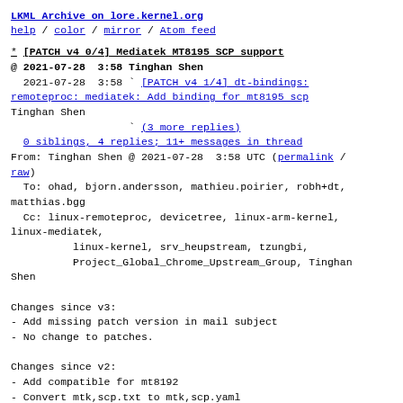LKML Archive on lore.kernel.org
help / color / mirror / Atom feed
* [PATCH v4 0/4] Mediatek MT8195 SCP support
@ 2021-07-28  3:58 Tinghan Shen
  2021-07-28  3:58 ` [PATCH v4 1/4] dt-bindings: remoteproc: mediatek: Add binding for mt8195 scp
Tinghan Shen
                   ` (3 more replies)
  0 siblings, 4 replies; 11+ messages in thread
From: Tinghan Shen @ 2021-07-28  3:58 UTC (permalink / raw)
To: ohad, bjorn.andersson, mathieu.poirier, robh+dt, matthias.bgg
  Cc: linux-remoteproc, devicetree, linux-arm-kernel, linux-mediatek,
          linux-kernel, srv_heupstream, tzungbi,
          Project_Global_Chrome_Upstream_Group, Tinghan Shen

Changes since v3:
- Add missing patch version in mail subject
- No change to patches.

Changes since v2:
- Add compatible for mt8192
- Convert mtk,scp.txt to mtk,scp.yaml
- Refine clock checking method

Changes since v1: